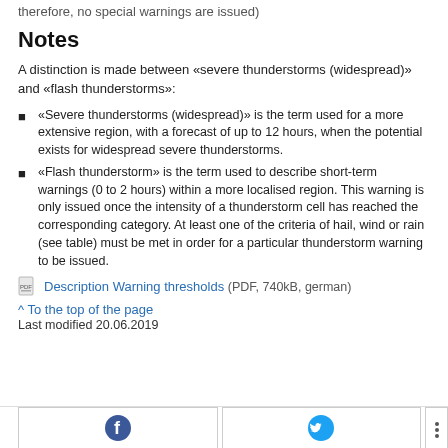therefore, no special warnings are issued)
Notes
A distinction is made between «severe thunderstorms (widespread)» and «flash thunderstorms»:
«Severe thunderstorms (widespread)» is the term used for a more extensive region, with a forecast of up to 12 hours, when the potential exists for widespread severe thunderstorms.
«Flash thunderstorm» is the term used to describe short-term warnings (0 to 2 hours) within a more localised region. This warning is only issued once the intensity of a thunderstorm cell has reached the corresponding category. At least one of the criteria of hail, wind or rain (see table) must be met in order for a particular thunderstorm warning to be issued.
Description Warning thresholds (PDF, 740kB, german)
^ To the top of the page
Last modified 20.06.2019
[Facebook] [Twitter] [More]